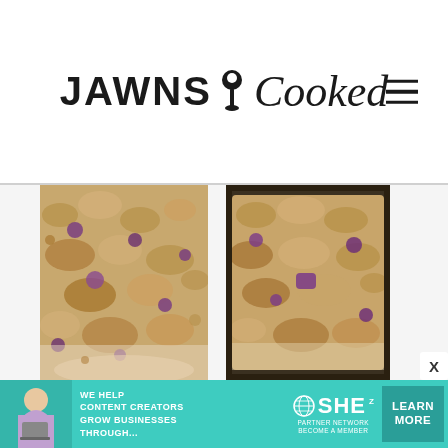JAWNS i Cooked
[Figure (photo): Close-up of a blueberry crumble bake in a pan, showing golden crumble topping with purple blueberry spots, left photo]
[Figure (photo): Wide shot of a blueberry crumble bake in a dark sheet pan, showing golden crumble topping with purple blueberry spots, right photo]
And 40-45 minutes later....
You'll have a sheet pan full of
[Figure (other): Advertisement banner: 'We help content creators grow businesses through...' SHE Partner Network - Become a Member - Learn More button]